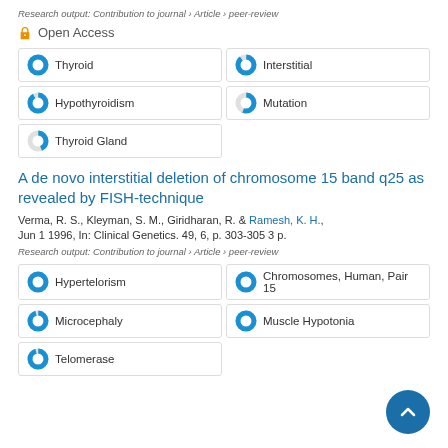Research output: Contribution to journal › Article › peer-review
Open Access
Thyroid
Interstitial
Hypothyroidism
Mutation
Thyroid Gland
A de novo interstitial deletion of chromosome 15 band q25 as revealed by FISH-technique
Verma, R. S., Kleyman, S. M., Giridharan, R. & Ramesh, K. H., Jun 1 1996, In: Clinical Genetics. 49, 6, p. 303-305 3 p.
Research output: Contribution to journal › Article › peer-review
Hypertelorism
Chromosomes, Human, Pair 15
Microcephaly
Muscle Hypotonia
Telomerase